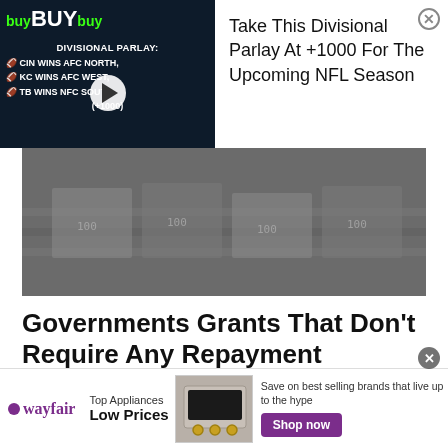[Figure (screenshot): Sports betting advertisement: BuyBuyBuy Divisional Parlay showing CIN WINS AFC NORTH, KC WINS AFC WEST, TB WINS NFC SOUTH (+1000)]
Take This Divisional Parlay At +1000 For The Upcoming NFL Season
[Figure (photo): Black and white photo of stacked bundles of US dollar bills/cash]
Governments Grants That Don't Require Any Repayment
Government Grants | Sponsored
Search Now
[Figure (photo): Food photo showing cauliflower on a dark wooden surface]
[Figure (screenshot): Wayfair advertisement: Top Appliances Low Prices. Save on best selling brands that live up to the hype. Shop now button.]